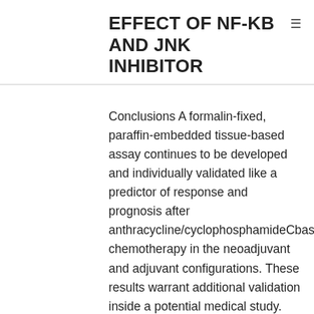EFFECT OF NF-KB AND JNK INHIBITOR
Conclusions A formalin-fixed, paraffin-embedded tissue-based assay continues to be developed and individually validated like a predictor of response and prognosis after anthracycline/cyclophosphamideCbased chemotherapy in the neoadjuvant and adjuvant configurations. These results warrant additional validation inside a potential medical study. Many chemotherapy regimens useful for breasts tumor in the adjuvant, neoadjuvant, or advanced configurations consist of real estate agents that harm DNA straight, such as for example